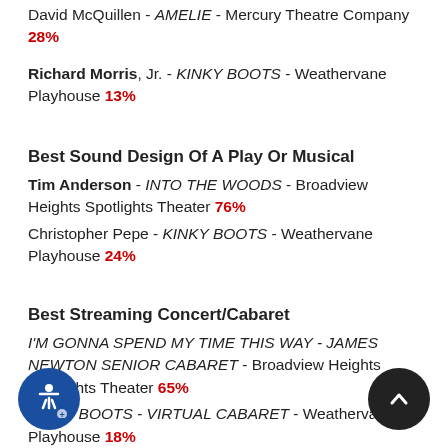David McQuillen - AMELIE - Mercury Theatre Company 28%
Richard Morris, Jr. - KINKY BOOTS - Weathervane Playhouse 13%
Best Sound Design Of A Play Or Musical
Tim Anderson - INTO THE WOODS - Broadview Heights Spotlights Theater 76%
Christopher Pepe - KINKY BOOTS - Weathervane Playhouse 24%
Best Streaming Concert/Cabaret
I'M GONNA SPEND MY TIME THIS WAY - JAMES NEWTON SENIOR CABARET - Broadview Heights Spotlights Theater 65%
KINKY BOOTS - VIRTUAL CABARET - Weathervane Playhouse 18%
JOSEPH AND THE AMAZING TECHNICOLOR DREAMCOAT - VIRTUAL CABARET - Weathervane